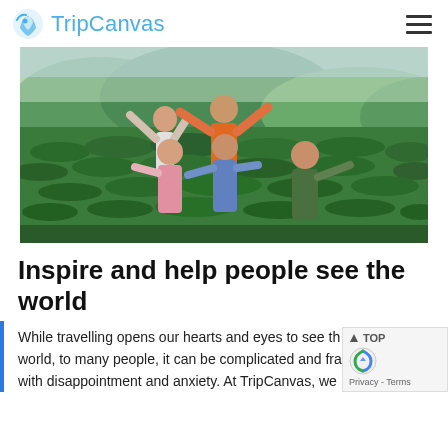TripCanvas
[Figure (photo): Group of five people posing cheerfully with arms spread wide in a lush green tea field with forested hills in the background.]
Inspire and help people see the world
While travelling opens our hearts and eyes to see the world, to many people, it can be complicated and fraught with disappointment and anxiety. At TripCanvas, we